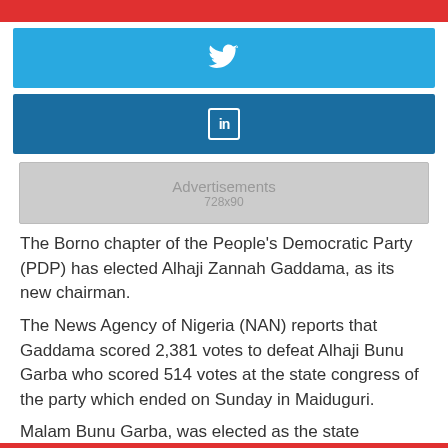[Figure (other): Red horizontal bar at top of page]
[Figure (other): Twitter share button - light blue rectangle with white Twitter bird icon]
[Figure (other): LinkedIn share button - dark blue rectangle with white LinkedIn 'in' icon]
[Figure (other): Advertisement placeholder box, grey background, text: Advertisements 728x90]
The Borno chapter of the People's Democratic Party (PDP) has elected Alhaji Zannah Gaddama, as its new chairman.
The News Agency of Nigeria (NAN) reports that Gaddama scored 2,381 votes to defeat Alhaji Bunu Garba who scored 514 votes at the state congress of the party which ended on Sunday in Maiduguri.
Malam Bunu Garba, was elected as the state